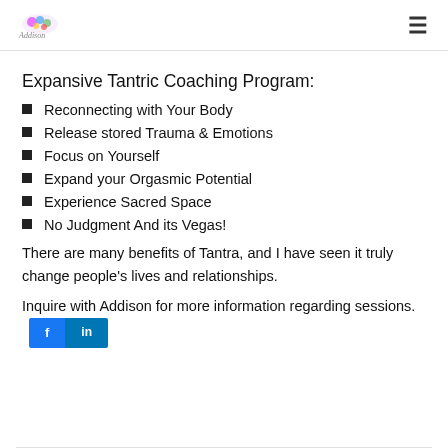Addison logo and navigation menu
Expansive Tantric Coaching Program:
Reconnecting with Your Body
Release stored Trauma & Emotions
Focus on Yourself
Expand your Orgasmic Potential
Experience Sacred Space
No Judgment And its Vegas!
There are many benefits of Tantra, and I have seen it truly change people's lives and relationships.
Inquire with Addison for more information regarding sessions.